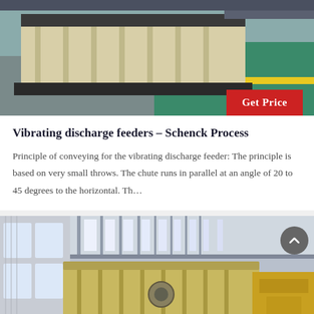[Figure (photo): Industrial vibrating feeder machine in a factory setting with green floor and yellow safety line]
Vibrating discharge feeders - Schenck Process
Principle of conveying for the vibrating discharge feeder: The principle is based on very small throws. The chute runs in parallel at an angle of 20 to 45 degrees to the horizontal. Th...
[Figure (photo): Industrial warehouse interior with large yellow vibrating feeder equipment, blue metal components, and bright overhead lighting]